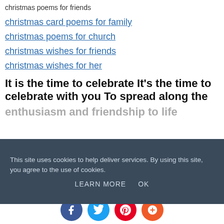christmas poems for friends
christmas card poems for family
christmas poems for church
christmas wishes for friends
christmas wishes for her
It is the time to celebrate It’s the time to celebrate with you To spread along the
This site uses cookies to help deliver services. By using this site, you agree to the use of cookies.
LEARN MORE   OK
will Remain this way forever in life Our